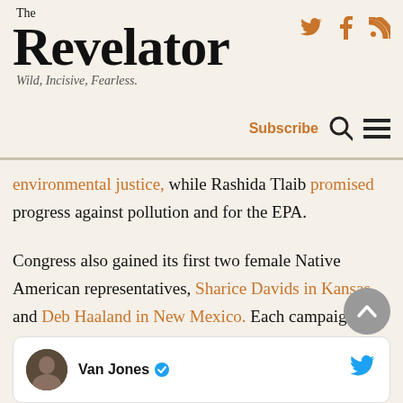The Revelator — Wild, Incisive, Fearless.
environmental justice, while Rashida Tlaib promised progress against pollution and for the EPA.
Congress also gained its first two female Native American representatives, Sharice Davids in Kansas and Deb Haaland in New Mexico. Each campaigned on a number of environmental issues, including climate change and clean water.
[Figure (other): Tweet card showing Van Jones with verified badge and Twitter bird icon]